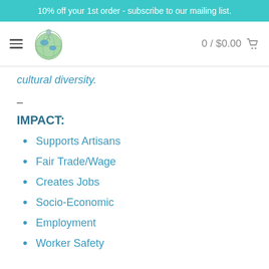10% off your 1st order - subscribe to our mailing list.
[Figure (logo): Globe logo with figure on top, circular shape with world map illustration]
0 / $0.00
cultural diversity.
–
IMPACT:
Supports Artisans
Fair Trade/Wage
Creates Jobs
Socio-Economic
Employment
Worker Safety